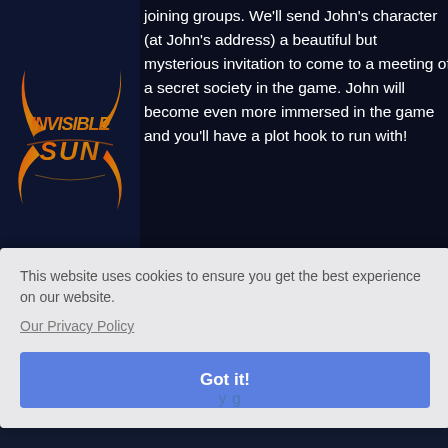[Figure (logo): Invisible Sun game logo in orange/red stylized flame lettering on dark navy background]
joining groups. We'll send John's character (at John's address) a beautiful but mysterious invitation to come to a meeting of a secret society in the game. John will become even more immersed in the game and you'll have a plot hook to run with!
This website uses cookies to ensure you get the best experience on our website.
Our Privacy Policy
Got it!